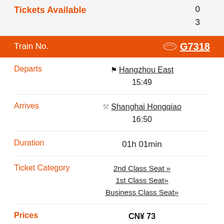Tickets Available
0
3
Train No.  G7318
Departs
Hangzhou East
15:49
Arrives
Shanghai Hongqiao
16:50
Duration
01h 01min
Ticket Category
2nd Class Seat »
1st Class Seat»
Business Class Seat»
Prices
CN¥73
CN¥117
CN¥219.5